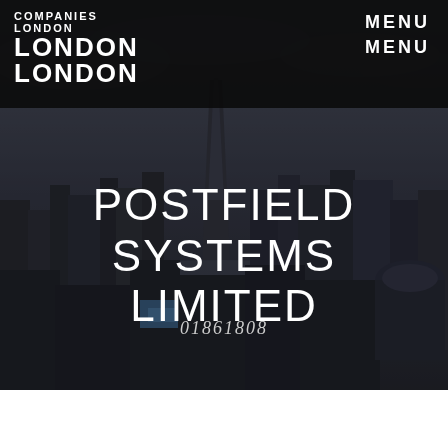COMPANIES LONDON LONDON LONDON
MENU MENU
POSTFIELD SYSTEMS LIMITED
01861808